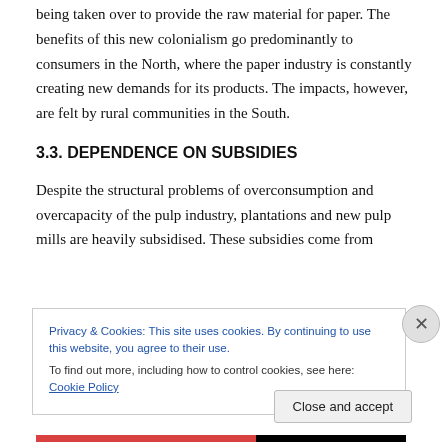being taken over to provide the raw material for paper. The benefits of this new colonialism go predominantly to consumers in the North, where the paper industry is constantly creating new demands for its products. The impacts, however, are felt by rural communities in the South.
3.3. DEPENDENCE ON SUBSIDIES
Despite the structural problems of overconsumption and overcapacity of the pulp industry, plantations and new pulp mills are heavily subsidised. These subsidies come from
[Figure (screenshot): Cookie consent overlay banner with text: 'Privacy & Cookies: This site uses cookies. By continuing to use this website, you agree to their use. To find out more, including how to control cookies, see here: Cookie Policy' and a 'Close and accept' button. A close (X) button appears to the right.]